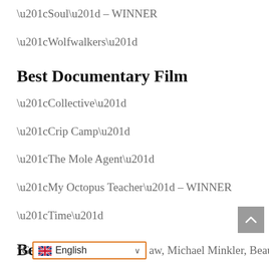“Soul” – WINNER
“Wolfwalkers”
Best Documentary Film
“Collective”
“Crip Camp”
“The Mole Agent”
“My Octopus Teacher” – WINNER
“Time”
Best Sound
“G…aw, Michael Minkler, Beau